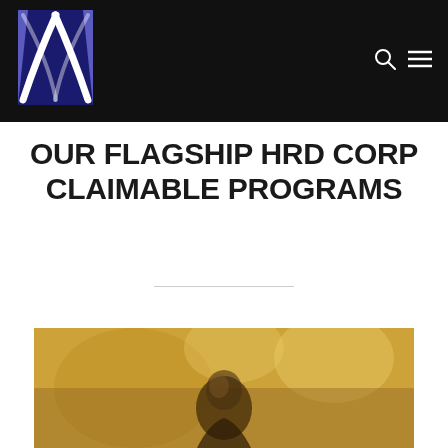[Figure (logo): Company logo with stylized X shape in purple/white on dark background]
OUR FLAGSHIP HRD CORP CLAIMABLE PROGRAMS
[Figure (photo): Photo of a person in a warm golden-lit indoor setting, partially visible at bottom of page]